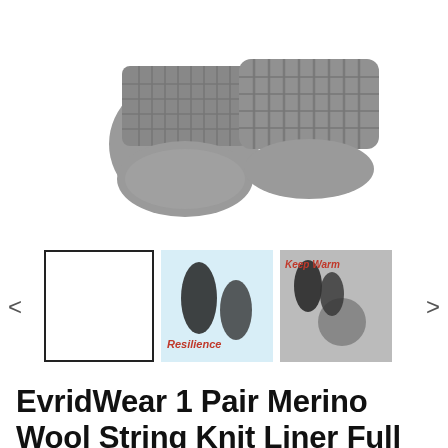[Figure (photo): Two gray knit gloves shown from above, side by side, displaying the ribbed cuff texture.]
[Figure (photo): Thumbnail strip: first thumbnail selected (white box outline), second thumbnail showing dark gloves held up with 'Resilience' text, third thumbnail showing dark gloves and a gray fabric circle with 'Keep Warm' text.]
EvridWear 1 Pair Merino Wool String Knit Liner Full Finger Gloves, Men Women (Gray)